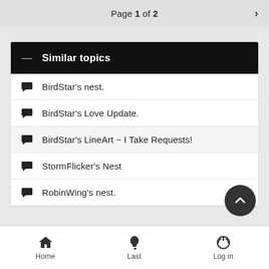Page 1 of 2
Similar topics
BirdStar's nest.
BirdStar's Love Update.
BirdStar's LineArt ~ I Take Requests!
StormFlicker's Nest
RobinWing's nest.
Home  Last  Log in